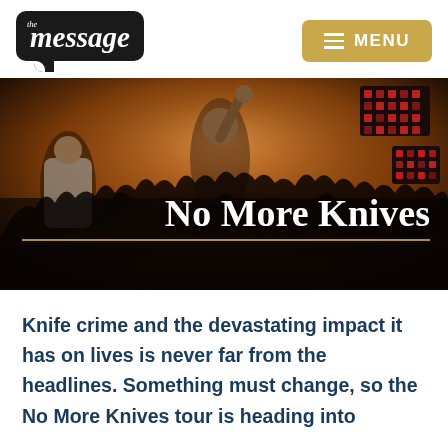the message — MENU
[Figure (photo): Concert photo showing a performer on stage with crowd reaching up, colorful stage lighting with red LED panels. Title 'No More Knives' overlaid in white serif text with a gold horizontal line beneath.]
No More Knives
Knife crime and the devastating impact it has on lives is never far from the headlines. Something must change, so the No More Knives tour is heading into